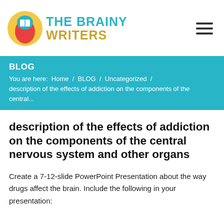THE BRAINY WRITERS
BLOG
You are here:  Home  /  BLOG  /  Uncategorized  /  description of the effects of addiction on the components of the central...
description of the effects of addiction on the components of the central nervous system and other organs
Create a 7-12-slide PowerPoint Presentation about the way drugs affect the brain. Include the following in your presentation: